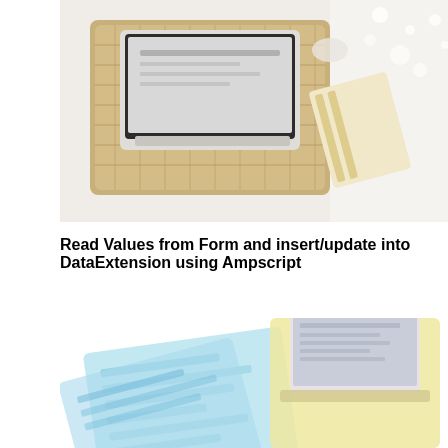[Figure (photo): Overhead/top-down photo of a laptop on a woven tray/mat on a white surface, with a striped cloth and scattered bokeh/light elements in the upper right corner.]
Read Values from Form and insert/update into DataExtension using Ampscript
[Figure (illustration): Isometric illustration showing a light blue form/document with fields, overlaid with a yellow isometric laptop/computer screen showing a web interface, representing data entry and online forms concept.]